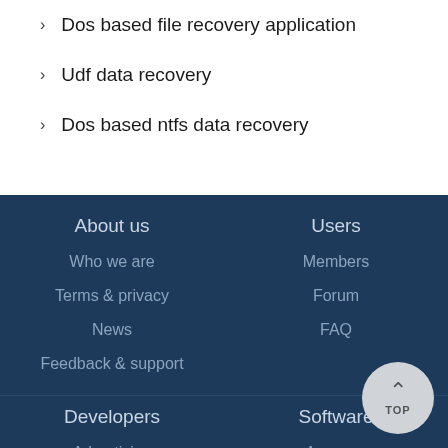Dos based file recovery application
Udf data recovery
Dos based ntfs data recovery
About us
Who we are
Terms & privacy
News
Feedback & support
Users
Members
Forum
FAQ
Developers
Advertising
Software
Answers